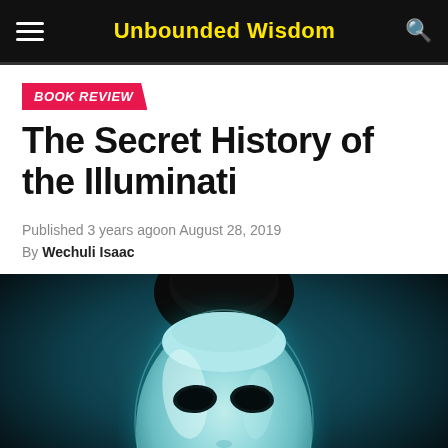Unbounded Wisdom
BOOK REVIEW
The Secret History of the Illuminati
Published 3 years agoon August 28, 2019
By Wechuli Isaac
[Figure (photo): A white theatrical mask on a dark teal background, facing forward, with dark eye openings.]